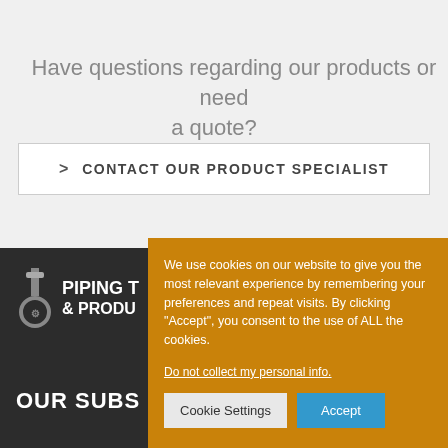Have questions regarding our products or need a quote?
> CONTACT OUR PRODUCT SPECIALIST
[Figure (logo): Piping Technology and Products logo with wrench/pipe icon]
OUR SUBS
We use cookies on our website to give you the most relevant experience by remembering your preferences and repeat visits. By clicking “Accept”, you consent to the use of ALL the cookies.
Do not collect my personal info.
Cookie Settings
Accept